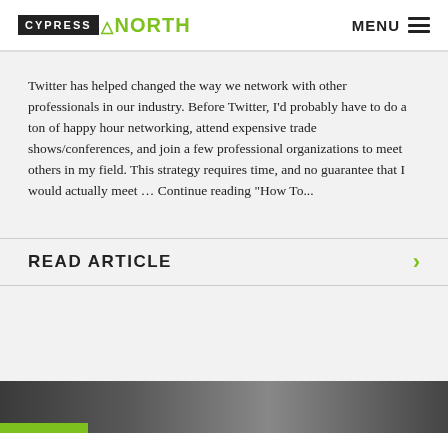CYPRESS NORTH  MENU
Twitter has helped changed the way we network with other professionals in our industry. Before Twitter, I'd probably have to do a ton of happy hour networking, attend expensive trade shows/conferences, and join a few professional organizations to meet others in my field. This strategy requires time, and no guarantee that I would actually meet … Continue reading "How To...
READ ARTICLE
[Figure (photo): Dark image of a person at a computer, partially visible at the bottom of the page]